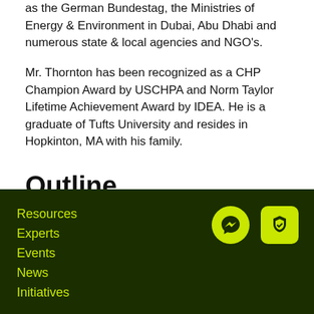as the German Bundestag, the Ministries of Energy & Environment in Dubai, Abu Dhabi and numerous state & local agencies and NGO's.
Mr. Thornton has been recognized as a CHP Champion Award by USCHPA and Norm Taylor Lifetime Achievement Award by IDEA. He is a graduate of Tufts University and resides in Hopkinton, MA with his family.
Outline
Resources
Experts
Events
News
Initiatives